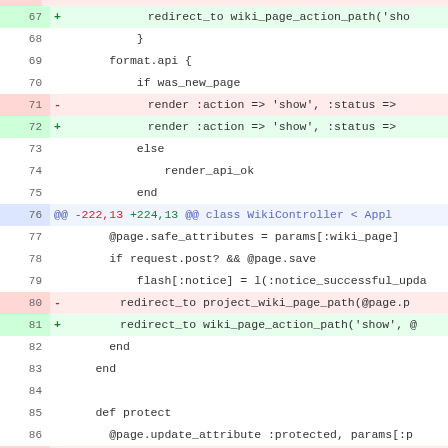[Figure (screenshot): A code diff view showing lines 67-88 of a Ruby on Rails WikiController file. Lines 67, 72, 81, 88 are additions (green background) and lines 71, 80, 87 are deletions (red background). Line 76 is a diff hunk header (blue). The code shows redirects being changed from project_wiki_page_path to wiki_page_action_path.]